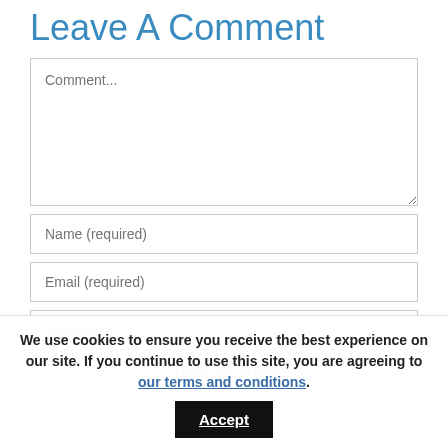Leave A Comment
Comment... (textarea placeholder)
Name (required)
Email (required)
Website
Notify me of follow...
We use cookies to ensure you receive the best experience on our site. If you continue to use this site, you are agreeing to our terms and conditions.
Accept